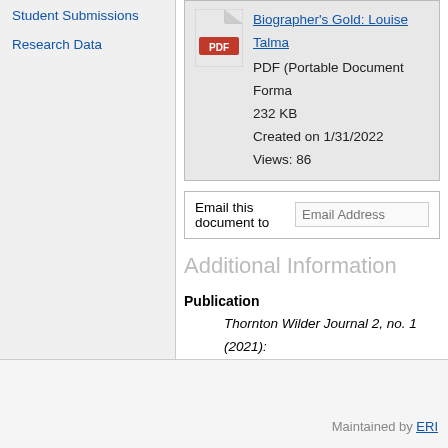Student Submissions
Research Data
Biographer's Gold: Louise Talma
PDF (Portable Document Format)
232 KB
Created on 1/31/2022
Views: 86
Email this document to  Email Address
Additional Information
Publication
    Thornton Wilder Journal 2, no. 1 (2021):
    Language: English
    Date: 2021
Keywords
    Louise Talma, The Alcestiad, biography,
Maintained by ERI